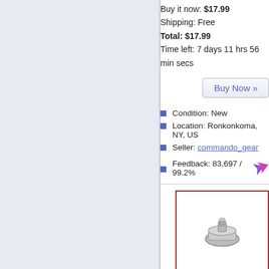Buy it now: $17.99
Shipping: Free
Total: $17.99
Time left: 7 days 11 hrs 56 min secs
Buy Now »
Condition: New
Location: Ronkonkoma, NY, US
Seller: commando_gear
Feedback: 83,697 / 99.2%
[Figure (photo): Product image of titanium canteen lid with sealing ring in a red-bordered box]
The Lid with Sealing Ring Titanium Ti3060 Car
Buy it now: $15.97
Shipping: $2.99
Total: $18.96
Time left: 7 days 23 hrs 10 min